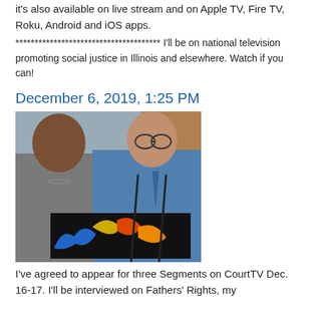it's also available on live stream and on Apple TV, Fire TV, Roku, Android and iOS apps.
************************************** I'll be on national television promoting social justice in Illinois and elsewhere. Watch if you can!
December 6, 2019, 1:25 PM
[Figure (photo): Two people standing together holding a painting with colorful artwork on a dark background. A woman on the left wearing a gray top with a necklace, and a man on the right wearing a blue shirt, tie, and suspenders.]
I've agreed to appear for three Segments on CourtTV Dec. 16-17. I'll be interviewed on Fathers' Rights, my